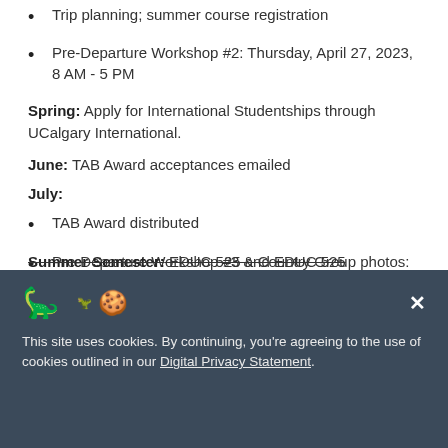Trip planning; summer course registration
Pre-Departure Workshop #2: Thursday, April 27, 2023, 8 AM - 5 PM
Spring: Apply for International Studentships through UCalgary International.
June: TAB Award acceptances emailed
July:
TAB Award distributed
Pre-Departure Workshop #3 & Country Group photos: Date TBA
Summer Semester: EDUC 525 and EDUC 525
This site uses cookies. By continuing, you're agreeing to the use of cookies outlined in our Digital Privacy Statement.